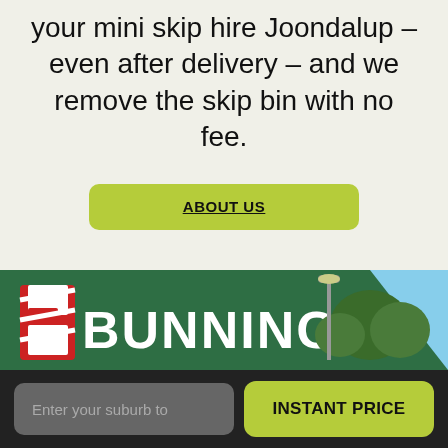your mini skip hire Joondalup – even after delivery – and we remove the skip bin with no fee.
ABOUT US
[Figure (photo): Bunnings Warehouse store exterior sign with green wall and white lettering reading BUNNINGS, with trees and a street lamp in background under blue sky]
Enter your suburb to
INSTANT PRICE